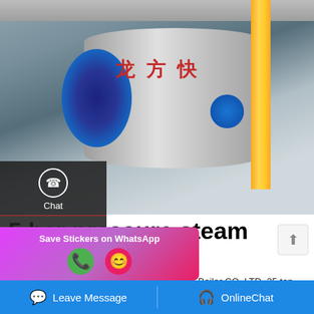[Figure (photo): Industrial steam boiler in a factory setting. A large cylindrical horizontal boiler with Chinese characters on it, blue motor/pump attached at one end, yellow vertical pipe on the right side, blue valve visible on the boiler, industrial ceiling and piping in the background.]
5 bar pressure steam boiler ghana
25 ton diesel boiler manufacturer-Zhengzhou Boiler CO.,LTD. 25 ton steam boiler in ethiopia-Industrial boiler Industrial boiler on diesel fired steam boiler with 10 bar we need know the details of 10 ton
[Figure (screenshot): WhatsApp sticker save banner with purple/pink gradient background showing 'Save Stickers on WhatsApp' text and phone/emoji icons]
Leave Message   OnlineChat